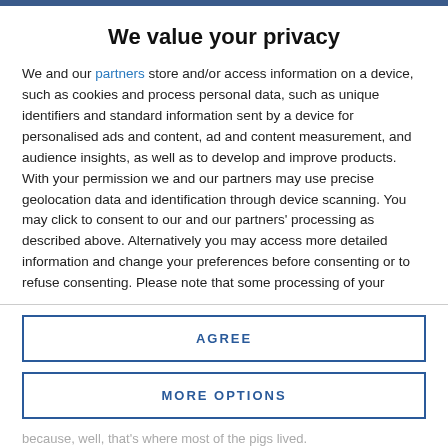We value your privacy
We and our partners store and/or access information on a device, such as cookies and process personal data, such as unique identifiers and standard information sent by a device for personalised ads and content, ad and content measurement, and audience insights, as well as to develop and improve products. With your permission we and our partners may use precise geolocation data and identification through device scanning. You may click to consent to our and our partners' processing as described above. Alternatively you may access more detailed information and change your preferences before consenting or to refuse consenting. Please note that some processing of your personal data may not require your consent, but you have a right to
AGREE
MORE OPTIONS
because, well, that's where most of the pigs lived.